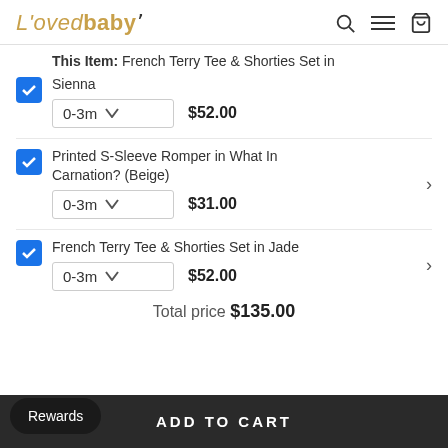L'ovedbaby
This Item: French Terry Tee & Shorties Set in Sienna
0-3m  $52.00
Printed S-Sleeve Romper in What In Carnation? (Beige)
0-3m  $31.00
French Terry Tee & Shorties Set in Jade
0-3m  $52.00
Total price $135.00
ADD TO CART
Rewards